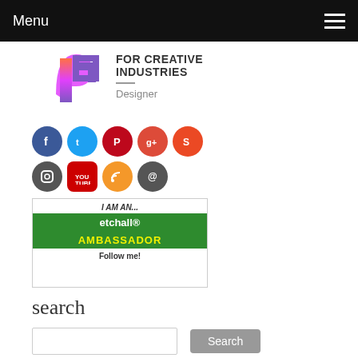Menu
[Figure (logo): Logo with colorful 'CH' icon and text FOR CREATIVE INDUSTRIES with Designer subtitle]
[Figure (infographic): Social media icon circles: Facebook, Twitter, Pinterest, Google+, StumbleUpon, Instagram, YouTube, RSS, Email]
[Figure (illustration): I AM AN... etchall® AMBASSADOR Follow me! banner with bee mascot]
search
Search input box and Search button